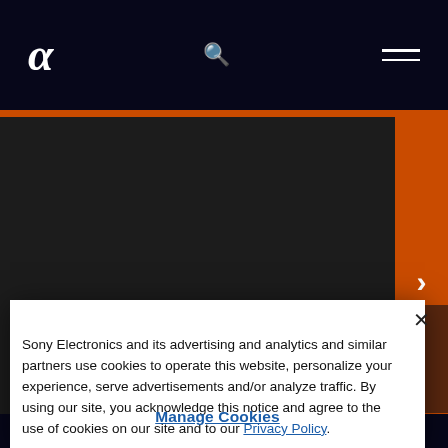Sony Alpha logo, search icon, menu icon navigation bar
Low Light? Low Contrast? High Contrast? No Problem With These Techniques
Sony Electronics and its advertising and analytics and similar partners use cookies to operate this website, personalize your experience, serve advertisements and/or analyze traffic. By using our site, you acknowledge this notice and agree to the use of cookies on our site and to our Privacy Policy.
Manage Cookies
CONTACT